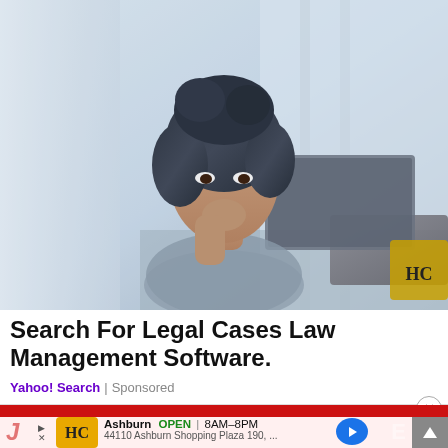[Figure (photo): A woman with dark curly hair sitting at a desk looking at a laptop, resting her chin on her hand thoughtfully. Background shows a bright window with curtains. A logo is partially visible in the bottom right corner of the image.]
Search For Legal Cases Law Management Software.
Yahoo! Search | Sponsored
[Figure (screenshot): Bottom ad banner showing a red bar at top, HC logo in yellow/gold, Ashburn location with OPEN 8AM-8PM hours, address 44110 Ashburn Shopping Plaza 190, navigation arrow, and partial letters J and E on sides with an up arrow on the right. Close button (X) visible in circle.]